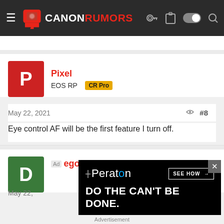Canon Rumors — site header navigation
Pixel
EOS RP  CR Pro
May 22, 2021  #8
Eye control AF will be the first feature I turn off.
Adegos
[Figure (screenshot): Peraton advertisement: 'DO THE CAN'T BE DONE.' with SEE HOW button]
Advertisement